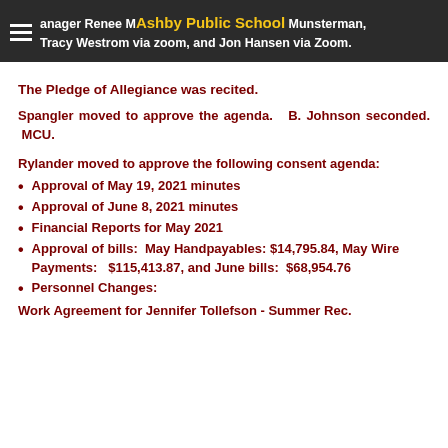Manager Renee M... Ashby Public School ...Munsterman, Tracy Westrom via zoom, and Jon Hansen via Zoom.
The Pledge of Allegiance was recited.
Spangler moved to approve the agenda.  B. Johnson seconded.  MCU.
Rylander moved to approve the following consent agenda:
Approval of May 19, 2021 minutes
Approval of June 8, 2021 minutes
Financial Reports for May 2021
Approval of bills:  May Handpayables: $14,795.84, May Wire Payments:   $115,413.87, and June bills:  $68,954.76
Personnel Changes:
Work Agreement for Jennifer Tollefson - Summer Rec.